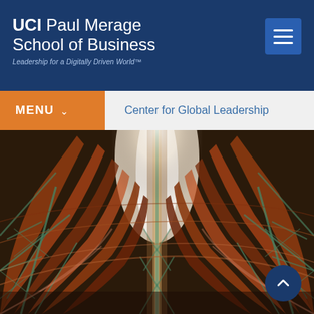UCI Paul Merage School of Business — Leadership for a Digitally Driven World™
Center for Global Leadership
[Figure (photo): Interior view looking up at a large wooden ship hull under construction or restoration, with curved wooden planks forming a sweeping concave shape, supported by green metal scaffolding/rigging, with light streaming in from a skylight above.]